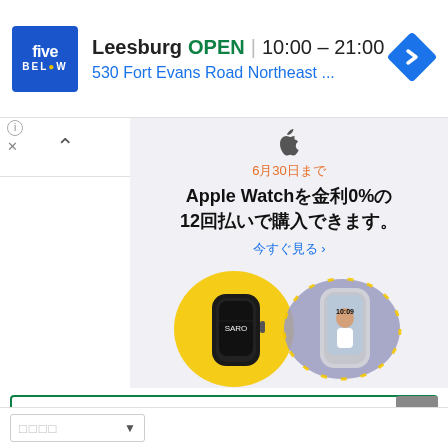[Figure (screenshot): Five Below store ad banner with logo, store name 'Leesburg', OPEN status, hours 10:00-21:00, address '530 Fort Evans Road Northeast ...', and navigation icon]
[Figure (screenshot): Apple Watch promotional ad in Japanese: '6月30日まで' (Until June 30), 'Apple Watchを金利0%の12回払いで購入できます。' (You can purchase Apple Watch with 0% interest in 12 payments), '今すぐ見る >' (See now), showing two Apple Watch models with yellow and purple/grey bands. Small print: '*諸条件が適用されます']
□□□□□
[Figure (screenshot): Dropdown selector box at bottom of page]